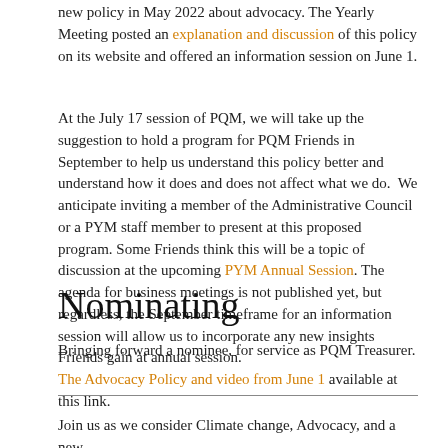new policy in May 2022 about advocacy. The Yearly Meeting posted an explanation and discussion of this policy on its website and offered an information session on June 1.
At the July 17 session of PQM, we will take up the suggestion to hold a program for PQM Friends in September to help us understand this policy better and understand how it does and does not affect what we do.  We anticipate inviting a member of the Administrative Council or a PYM staff member to present at this proposed program. Some Friends think this will be a topic of discussion at the upcoming PYM Annual Session. The agenda for business meetings is not published yet, but regardless, the September timeframe for an information session will allow us to incorporate any new insights Friends gain at annual session.
The Advocacy Policy and video from June 1 available at this link.
Nominating
Bringing forward a nominee, for service as PQM Treasurer.
Join us as we consider Climate change, Advocacy, and a new